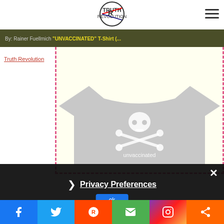Truth Revolution - logo and menu
"UNVACCINATED" T-Shirt (...)
Truth Revolution
[Figure (photo): Gray t-shirt with skull and crossbones graphic and the word 'unvaccinated' printed on it]
Privacy Preferences
Social sharing bar: Facebook, Twitter, Reddit, Email, Instagram, Share